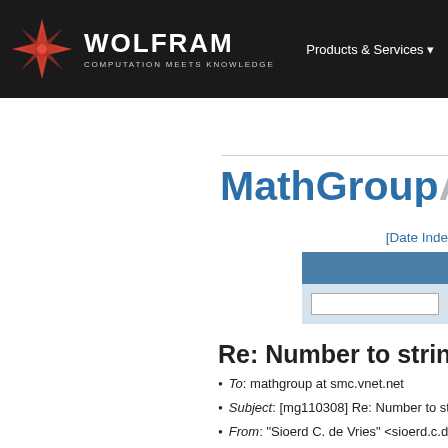[Figure (logo): Wolfram logo with red snowflake icon, WOLFRAM text in white bold, tagline COMPUTATION MEETS KNOWLEDGE in gray]
Products & Services ▾
MathGroup Archive
[Date Inde
Re: Number to string
To: mathgroup at smc.vnet.net
Subject: [mg110308] Re: Number to string
From: "Sioerd C. de Vries" <sioerd.c.devrie